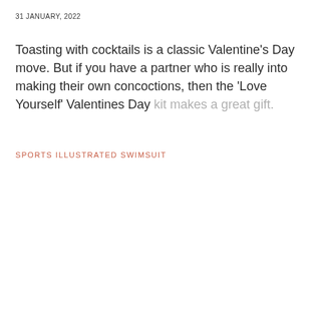31 JANUARY, 2022
Toasting with cocktails is a classic Valentine's Day move. But if you have a partner who is really into making their own concoctions, then the 'Love Yourself' Valentines Day kit makes a great gift.
SPORTS ILLUSTRATED SWIMSUIT